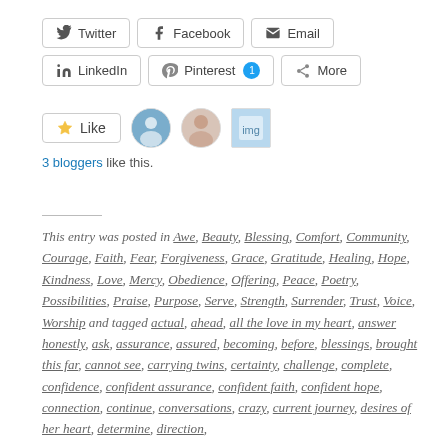[Figure (screenshot): Social share buttons: Twitter, Facebook, Email, LinkedIn, Pinterest (with badge 1), More]
[Figure (screenshot): Like button with star icon and 3 blogger avatars]
3 bloggers like this.
This entry was posted in Awe, Beauty, Blessing, Comfort, Community, Courage, Faith, Fear, Forgiveness, Grace, Gratitude, Healing, Hope, Kindness, Love, Mercy, Obedience, Offering, Peace, Poetry, Possibilities, Praise, Purpose, Serve, Strength, Surrender, Trust, Voice, Worship and tagged actual, ahead, all the love in my heart, answer honestly, ask, assurance, assured, becoming, before, blessings, brought this far, cannot see, carrying twins, certainty, challenge, complete, confidence, confident assurance, confident faith, confident hope, connection, continue, conversations, crazy, current journey, desires of her heart, determine, direction,